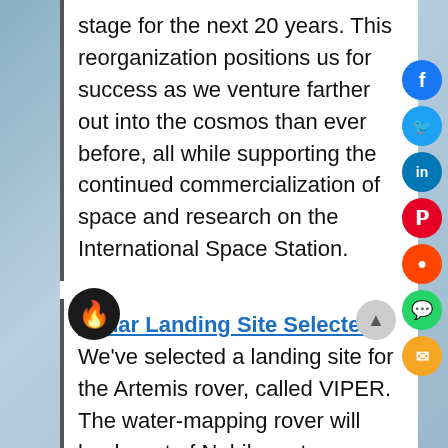stage for the next 20 years. This reorganization positions us for success as we venture farther out into the cosmos than ever before, all while supporting the continued commercialization of space and research on the International Space Station.
Lunar Landing Site Selected – We've selected a landing site for the Artemis rover, called VIPER. The water-mapping rover will land west of Nobile crater near the Moon's South Pole. This robotic scout will identify and study resources for future human exploration.
Meet Lucy – Aluminum mirrors polished with diamond. Cameras that can spot 75-yard-wide craters from 600 miles away. These science tools and more will fly aboard the Lucy spacecraft to the Trojan